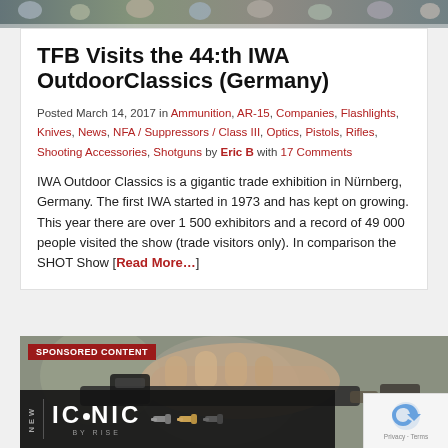[Figure (photo): Top banner showing a group of people at a trade show or outdoor event, cropped collage of attendees]
TFB Visits the 44:th IWA OutdoorClassics (Germany)
Posted March 14, 2017 in Ammunition, AR-15, Companies, Flashlights, Knives, News, NFA / Suppressors / Class III, Optics, Pistols, Rifles, Shooting Accessories, Shotguns by Eric B with 17 Comments
IWA Outdoor Classics is a gigantic trade exhibition in Nürnberg, Germany. The first IWA started in 1973 and has kept on growing. This year there are over 1 500 exhibitors and a record of 49 000 people visited the show (trade visitors only). In comparison the SHOT Show [Read More…]
[Figure (photo): Sponsored content advertisement showing a hand holding a firearm with a red dot sight, overlaid with the ICONIC by RISE logo text on a dark background. Labeled 'SPONSORED CONTENT' in red.]